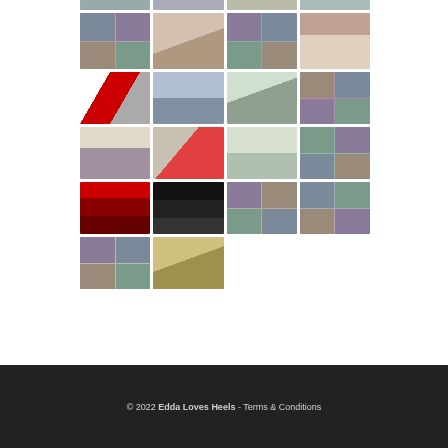[Figure (photo): Fashion blog image grid showing multiple rows of thumbnail photos of clothing, shoes, accessories, and fashion editorial images arranged in a 4-column grid layout]
© 2022 Edda Loves Heels - Terms & Conditions